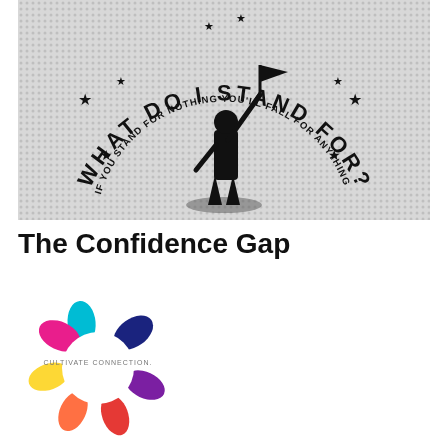[Figure (photo): Black and white image with a halftone dot pattern showing a silhouette of a person holding a flag aloft. Surrounding the figure in a circular arc is the text 'WHAT DO I STAND FOR?' and in a smaller arc below 'IF YOU STAND FOR NOTHING YOU'LL FALL FOR ANYTHING'. Decorative stars are placed around the text.]
The Confidence Gap
[Figure (logo): Cultivate Connection logo: a circular arrangement of colourful teardrop/comma shapes in cyan, dark blue/navy, purple, red, orange, yellow, and magenta forming a ring. The text 'CULTIVATE CONNECTION.' appears in small grey letters in the centre of the ring.]